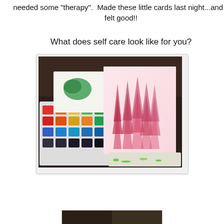needed some "therapy".  Made these little cards last night...and it felt good!!
What does self care look like for you?
[Figure (photo): Photo of watercolor painting supplies: a palette of colorful watercolor paints arranged in a grid (reds, oranges, yellows, greens, blues, blacks), small watercolor cards including one with a green wash and another featuring pink/red evergreen trees on a light pink background, all on a dark background with green paint splatters.]
[Figure (photo): Partial view of another photo at the bottom of the page, mostly dark/cut off.]